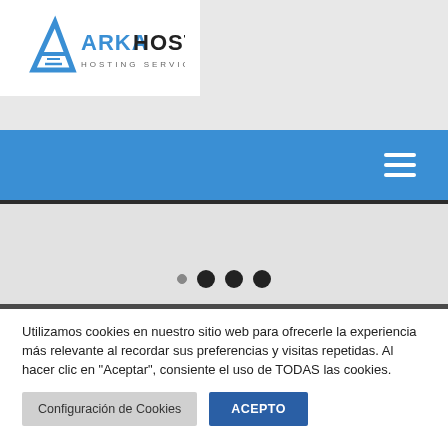[Figure (logo): ArkaHost Hosting Services logo — blue triangle/A icon with 'ARKAHOST' in blue bold text and 'HOSTING SERVICES' in gray below]
[Figure (screenshot): Blue navigation bar with hamburger menu icon (three white horizontal lines) on the right]
[Figure (screenshot): Gray slider area with four navigation dots — one small light dot and three larger dark circles]
Utilizamos cookies en nuestro sitio web para ofrecerle la experiencia más relevante al recordar sus preferencias y visitas repetidas. Al hacer clic en "Aceptar", consiente el uso de TODAS las cookies.
Configuración de Cookies
ACEPTO